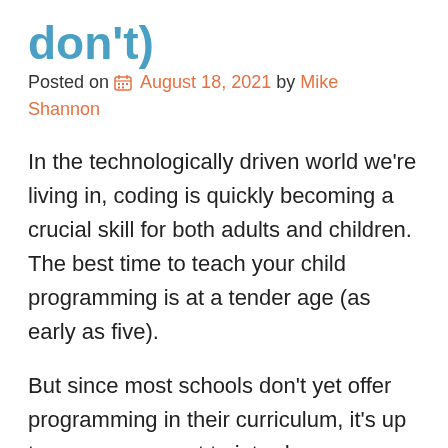don't)
Posted on August 18, 2021 by Mike Shannon
In the technologically driven world we're living in, coding is quickly becoming a crucial skill for both adults and children. The best time to teach your child programming is at a tender age (as early as five).
But since most schools don't yet offer programming in their curriculum, it's up to you as a parent to introduce your young one